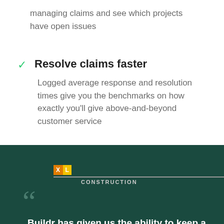managing claims and see which projects have open issues
Resolve claims faster
Logged average response and resolution times give you the benchmarks on how exactly you'll give above-and-beyond customer service
[Figure (logo): XL Construction logo with orange X, yellow L blocks and CONSTRUCTION text below]
Buildr has given us the ability to keep a transparent workflow between the client, trade partners, and our field teams in